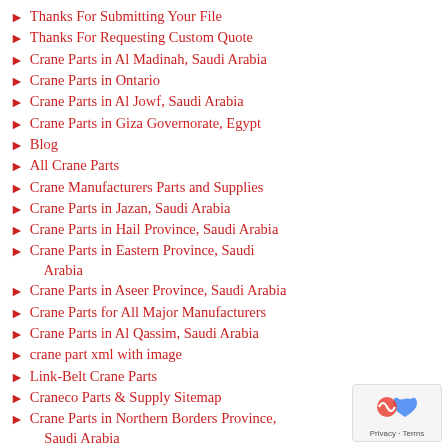Thanks For Submitting Your File
Thanks For Requesting Custom Quote
Crane Parts in Al Madinah, Saudi Arabia
Crane Parts in Ontario
Crane Parts in Al Jowf, Saudi Arabia
Crane Parts in Giza Governorate, Egypt
Blog
All Crane Parts
Crane Manufacturers Parts and Supplies
Crane Parts in Jazan, Saudi Arabia
Crane Parts in Hail Province, Saudi Arabia
Crane Parts in Eastern Province, Saudi Arabia
Crane Parts in Aseer Province, Saudi Arabia
Crane Parts for All Major Manufacturers
Crane Parts in Al Qassim, Saudi Arabia
crane part xml with image
Link-Belt Crane Parts
Craneco Parts & Supply Sitemap
Crane Parts in Northern Borders Province, Saudi Arabia
Thankyou